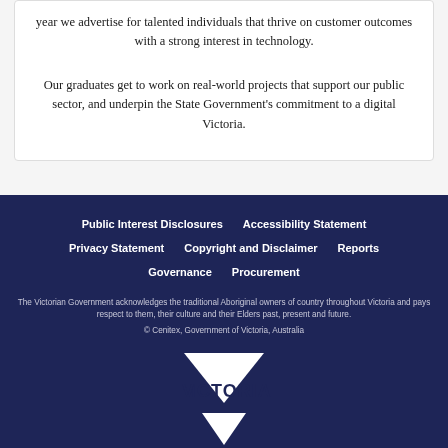year we advertise for talented individuals that thrive on customer outcomes with a strong interest in technology.
Our graduates get to work on real-world projects that support our public sector, and underpin the State Government's commitment to a digital Victoria.
Public Interest Disclosures  Accessibility Statement  Privacy Statement  Copyright and Disclaimer  Reports  Governance  Procurement
The Victorian Government acknowledges the traditional Aboriginal owners of country throughout Victoria and pays respect to them, their culture and their Elders past, present and future.
© Cenitex, Government of Victoria, Australia